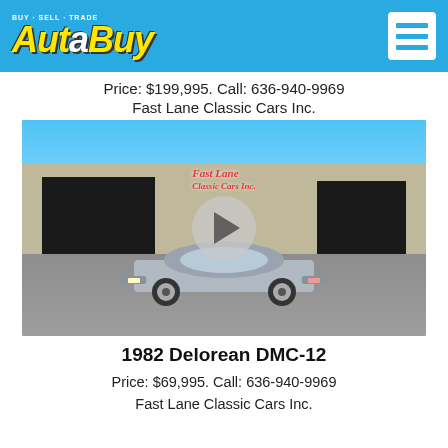AutoBuy — Buy · Sell · Trade
Price: $199,995. Call: 636-940-9969
Fast Lane Classic Cars Inc.
[Figure (photo): Photograph of a silver 1982 DeLorean DMC-12 parked in front of Fast Lane Classic Cars Inc. dealership. The building has a stone facade with large garage openings, a Fast Lane Classic Cars logo sign, American and Italian flags, and blue sky in the background. A video play button overlay is visible in the center of the image.]
1982 Delorean DMC-12
Price: $69,995. Call: 636-940-9969
Fast Lane Classic Cars Inc.